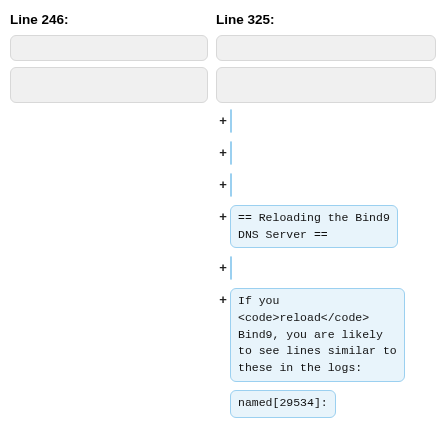Line 246:
Line 325:
[Figure (screenshot): Two-column diff view showing Line 246 on the left with two empty grey boxes, and Line 325 on the right with multiple rows: two empty grey boxes, three empty blue-highlighted added rows (+), one added row with '== Reloading the Bind9 DNS Server ==', one empty added row, one added row with 'If you <code>reload</code> Bind9, you are likely to see lines similar to these in the logs:', and a partially visible row showing 'named[29534]:'.]